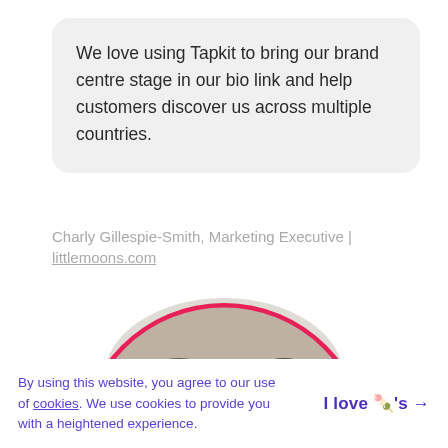We love using Tapkit to bring our brand centre stage in our bio link and help customers discover us across multiple countries.
Charly Gillespie-Smith, Marketing Executive | littlemoons.com
[Figure (photo): Two people smiling, shown from shoulders up, framed inside a semicircle with a pink/red border arc at the top]
By using this website, you agree to our use of cookies. We use cookies to provide you with a heightened experience.
I love 🍡's →